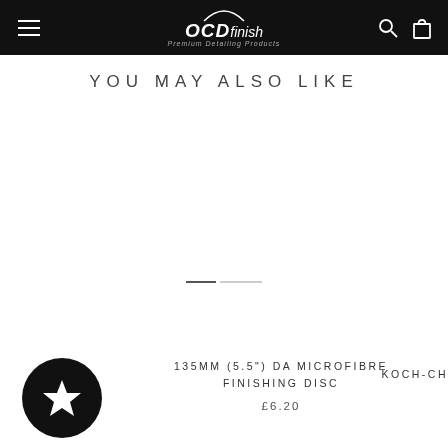OCDfinish — Premium Detailing Products
YOU MAY ALSO LIKE
135MM (5.5") DA MICROFIBRE FINISHING DISC
£6.20
KOCH-CH